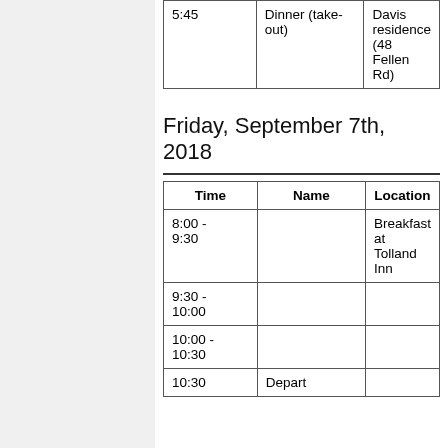| Time | Name | Location |
| --- | --- | --- |
| 5:45 | Dinner (take-out) | Davis residence (48 Fellen Rd) |
Friday, September 7th, 2018
| Time | Name | Location |
| --- | --- | --- |
| 8:00 - 9:30 |  | Breakfast at Tolland Inn |
| 9:30 - 10:00 |  |  |
| 10:00 - 10:30 |  |  |
| 10:30 | Depart |  |